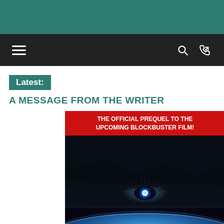≡  🔍  ⇄
Latest:
A MESSAGE FROM THE WRITER
[Figure (photo): Book cover for Transformers prequel novel, showing a robotic eye glowing blue over Earth from space, with text 'THE OFFICIAL PREQUEL TO THE UPCOMING BLOCKBUSTER FILM!' on a red banner, and the word 'TRANS' partially visible at the bottom in metallic lettering.]